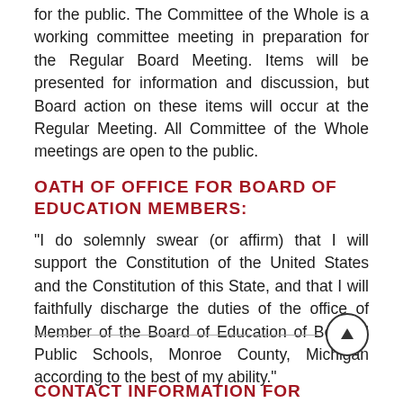for the public. The Committee of the Whole is a working committee meeting in preparation for the Regular Board Meeting. Items will be presented for information and discussion, but Board action on these items will occur at the Regular Meeting. All Committee of the Whole meetings are open to the public.
OATH OF OFFICE FOR BOARD OF EDUCATION MEMBERS:
"I do solemnly swear (or affirm) that I will support the Constitution of the United States and the Constitution of this State, and that I will faithfully discharge the duties of the office of Member of the Board of Education of Bedford Public Schools, Monroe County, Michigan according to the best of my ability."
CONTACT INFORMATION FOR